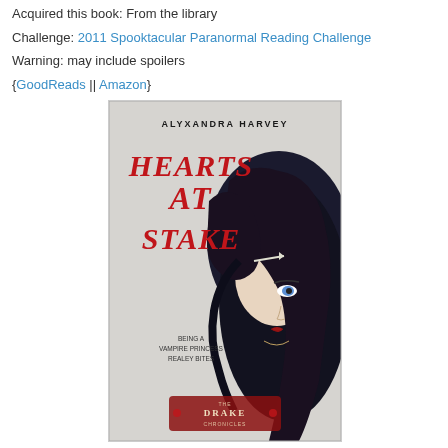Acquired this book: From the library
Challenge: 2011 Spooktacular Paranormal Reading Challenge
Warning: may include spoilers
{GoodReads || Amazon}
[Figure (photo): Book cover of 'Hearts at Stake' by Alyxandra Harvey. The Drake Chronicles series. Shows a young woman with dark hair and blue eyes against a light background. Large red stylized text reads 'HEARTS AT STAKE'. Subtitle: 'Being a Vampire Princess Realey Bites'. Series logo at bottom.]